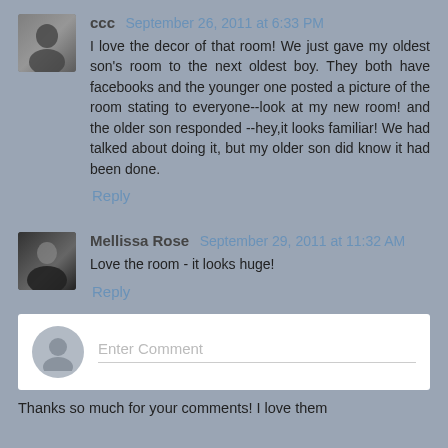ccc  September 26, 2011 at 6:33 PM
I love the decor of that room! We just gave my oldest son's room to the next oldest boy. They both have facebooks and the younger one posted a picture of the room stating to everyone--look at my new room! and the older son responded --hey,it looks familiar! We had talked about doing it, but my older son did know it had been done.
Reply
[Figure (photo): Small avatar photo of user ccc, dark shadowed figure]
Mellissa Rose  September 29, 2011 at 11:32 AM
Love the room - it looks huge!
Reply
[Figure (photo): Small avatar photo of Mellissa Rose, dark figure in black top]
Enter Comment
Thanks so much for your comments! I love them